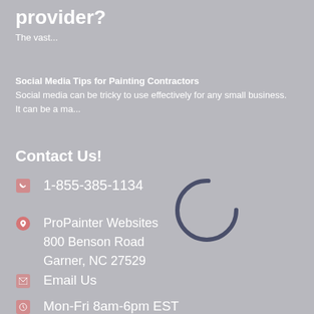provider?
The vast...
Social Media Tips for Painting Contractors
Social media can be tricky to use effectively for any small business. It can be a ma...
Contact Us!
1-855-385-1134
ProPainter Websites
800 Benson Road
Garner, NC 27529
Email Us
Mon-Fri 8am-6pm EST
[Figure (other): Loading spinner arc circle graphic]